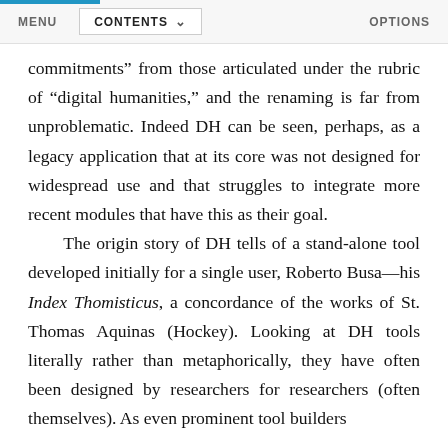MENU   CONTENTS   OPTIONS
commitments” from those articulated under the rubric of “digital humanities,” and the renaming is far from unproblematic. Indeed DH can be seen, perhaps, as a legacy application that at its core was not designed for widespread use and that struggles to integrate more recent modules that have this as their goal.
    The origin story of DH tells of a stand-alone tool developed initially for a single user, Roberto Busa—his Index Thomisticus, a concordance of the works of St. Thomas Aquinas (Hockey). Looking at DH tools literally rather than metaphorically, they have often been designed by researchers for researchers (often themselves). As even prominent tool builders